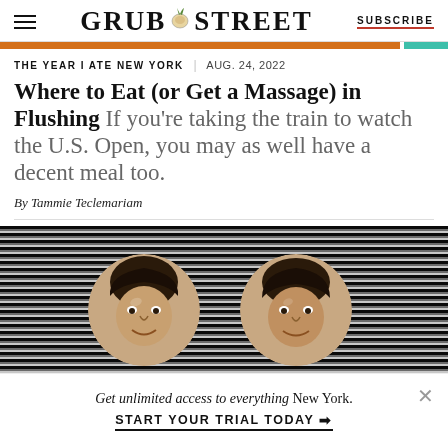GRUB STREET | SUBSCRIBE
[Figure (illustration): Orange and teal colored horizontal bar dividing the header from the article content]
THE YEAR I ATE NEW YORK | AUG. 24, 2022
Where to Eat (or Get a Massage) in Flushing If you’re taking the train to watch the U.S. Open, you may as well have a decent meal too.
By Tammie Teclemariam
[Figure (photo): Two circular portrait photos of men against a black and white striped background]
Get unlimited access to everything New York. START YOUR TRIAL TODAY ➡️